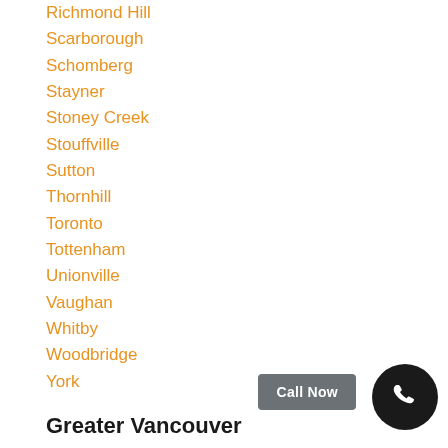Richmond Hill
Scarborough
Schomberg
Stayner
Stoney Creek
Stouffville
Sutton
Thornhill
Toronto
Tottenham
Unionville
Vaughan
Whitby
Woodbridge
York
Greater Vancouver
Anmore
Belcarra
Bowen Island
Burnaby
Burrard Inlet